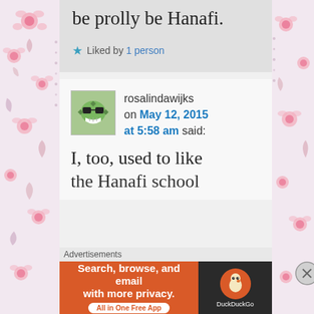[Figure (illustration): Decorative floral border on left side with pink flowers and swirls on light background]
[Figure (illustration): Decorative floral border on right side with pink flowers and swirls on light background]
be prolly be Hanafi.
★ Liked by 1 person
[Figure (illustration): Avatar image of rosalindawijks - green monster/alien character with sunglasses]
rosalindawijks on May 12, 2015 at 5:58 am said:
I, too, used to like the Hanafi school
Advertisements
[Figure (infographic): DuckDuckGo advertisement banner: 'Search, browse, and email with more privacy. All in One Free App' with DuckDuckGo logo on dark background]